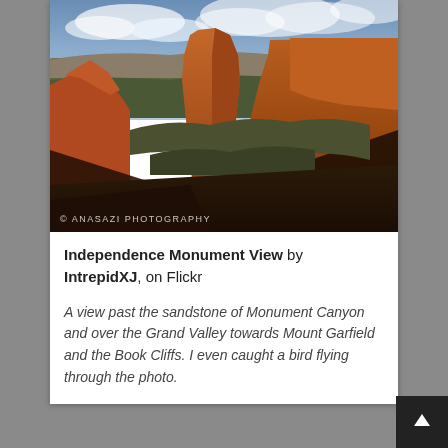[Figure (photo): Landscape photograph of Independence Monument View in Colorado National Monument. Red sandstone rock formations in Monument Canyon with Grand Valley and Book Cliffs visible in the background under a partly cloudy sky. Watermark reads: © ANASAZI PHOTOGRAPHY]
Independence Monument View by IntrepidXJ, on Flickr
A view past the sandstone of Monument Canyon and over the Grand Valley towards Mount Garfield and the Book Cliffs. I even caught a bird flying through the photo.